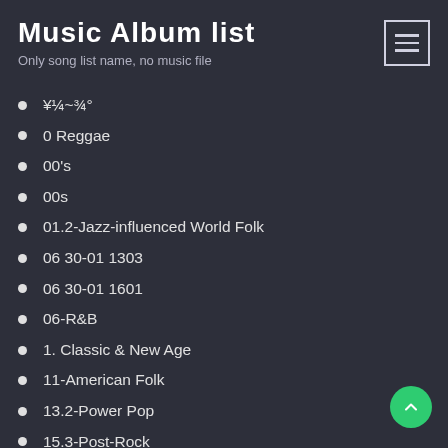Music Album list
Only song list name, no music file
¥¼~¾°
0 Reggae
00's
00s
01.2-Jazz-influenced World Folk
06 30-01 1303
06 30-01 1601
06-R&B
1. Classic & New Age
11-American Folk
13.2-Power Pop
15.3-Post-Rock
1930's
1940's
1950s
1960s Pop Rock 65-69
1970s Rock